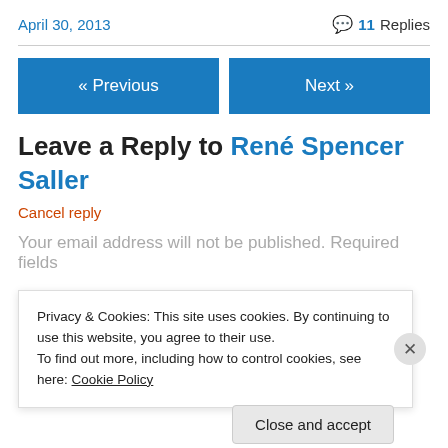April 30, 2013
💬 11 Replies
« Previous
Next »
Leave a Reply to René Spencer Saller
Cancel reply
Your email address will not be published. Required fields
Privacy & Cookies: This site uses cookies. By continuing to use this website, you agree to their use.
To find out more, including how to control cookies, see here: Cookie Policy
Close and accept